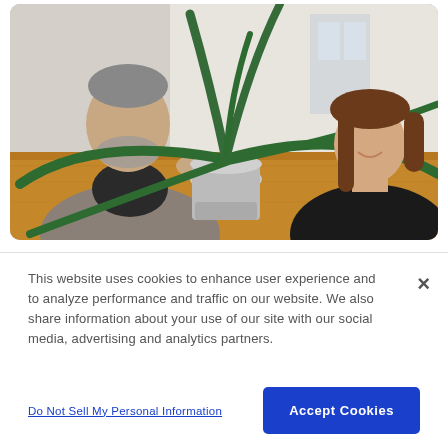[Figure (photo): Two people — a bearded man in a grey blazer and a woman with long brown hair — sit across a wooden table from each other, appearing to be in a meeting or conversation. A white pot with a large green plant (aloe-like) sits in the center of the table. The background is bright and light-toned.]
This website uses cookies to enhance user experience and to analyze performance and traffic on our website. We also share information about your use of our site with our social media, advertising and analytics partners.
Do Not Sell My Personal Information
Accept Cookies